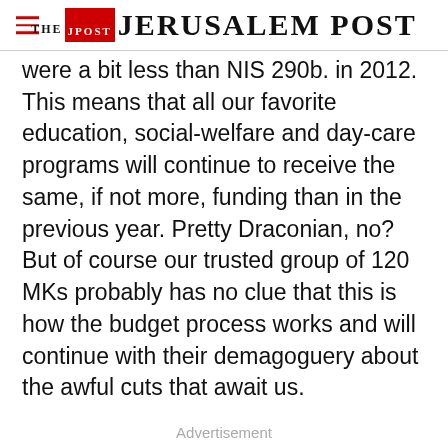THE JERUSALEM POST
were a bit less than NIS 290b. in 2012. This means that all our favorite education, social-welfare and day-care programs will continue to receive the same, if not more, funding than in the previous year. Pretty Draconian, no? But of course our trusted group of 120 MKs probably has no clue that this is how the budget process works and will continue with their demagoguery about the awful cuts that await us.
Advertisement